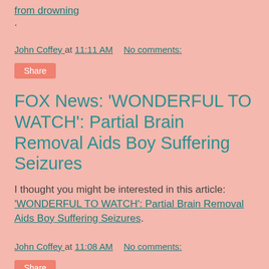from drowning.
John Coffey at 11:11 AM    No comments:
Share
FOX News: 'WONDERFUL TO WATCH': Partial Brain Removal Aids Boy Suffering Seizures
I thought you might be interested in this article: 'WONDERFUL TO WATCH': Partial Brain Removal Aids Boy Suffering Seizures.
John Coffey at 11:08 AM    No comments:
Share